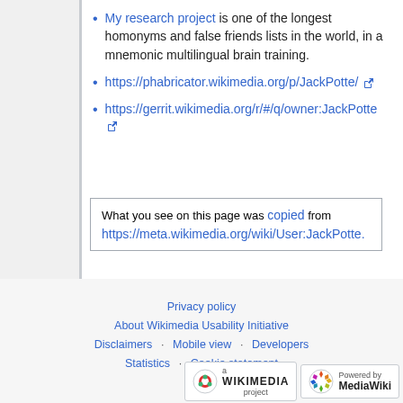My research project is one of the longest homonyms and false friends lists in the world, in a mnemonic multilingual brain training.
https://phabricator.wikimedia.org/p/JackPotte/
https://gerrit.wikimedia.org/r/#/q/owner:JackPotte
What you see on this page was copied from https://meta.wikimedia.org/wiki/User:JackPotte.
Privacy policy · About Wikimedia Usability Initiative · Disclaimers · Mobile view · Developers · Statistics · Cookie statement